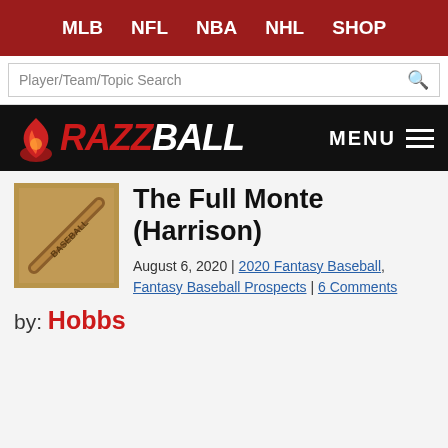MLB  NFL  NBA  NHL  SHOP
Player/Team/Topic Search
[Figure (logo): Razzball logo with flame icon, RAZZ in red italic bold and BALL in white italic bold]
The Full Monte (Harrison)
August 6, 2020 | 2020 Fantasy Baseball, Fantasy Baseball Prospects | 6 Comments
by: Hobbs
[Figure (other): HEADERBIDDING.COM advertisement banner - Your source for all things programmatic advertising.]